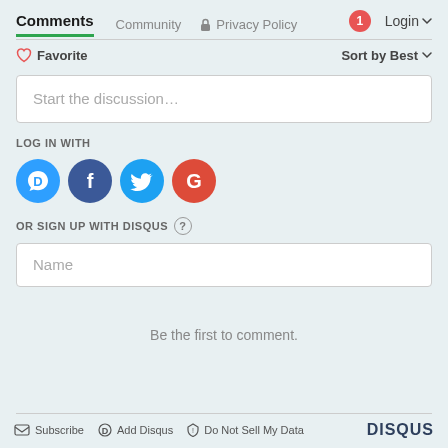Comments  Community  Privacy Policy  Login
Favorite  Sort by Best
Start the discussion…
LOG IN WITH
[Figure (logo): Social login icons: Disqus (blue speech bubble with D), Facebook (dark blue circle with f), Twitter (light blue circle with bird), Google (red circle with G)]
OR SIGN UP WITH DISQUS ?
Name
Be the first to comment.
Subscribe  Add Disqus  Do Not Sell My Data  DISQUS